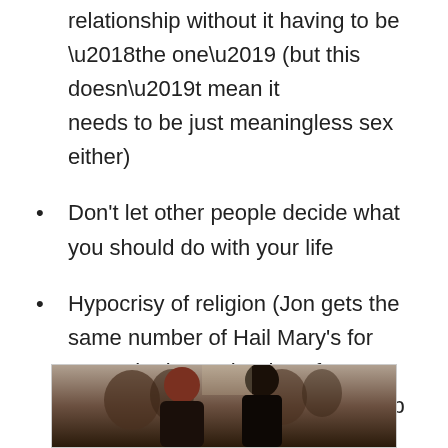relationship without it having to be ‘the one’ (but this doesn’t mean it needs to be just meaningless sex either)
Don’t let other people decide what you should do with your life
Hypocrisy of religion (Jon gets the same number of Hail Mary’s for masturbation as he does for fornication – ‘How do you come up with those numbers?’)
[Figure (photo): Partially visible photograph showing two people in the foreground with others in the background, dark/indoor setting]